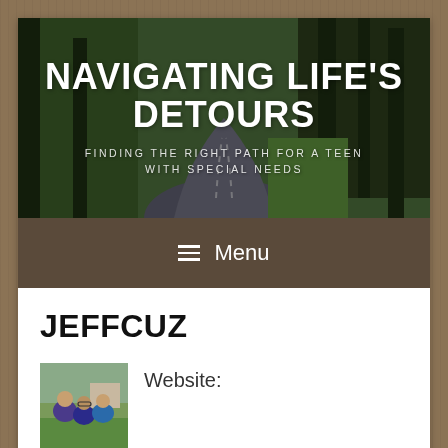[Figure (photo): Website banner/header image showing a winding road through trees and green lawn, with overlaid text 'NAVIGATING LIFE'S DETOURS' and subtitle 'FINDING THE RIGHT PATH FOR A TEEN WITH SPECIAL NEEDS']
NAVIGATING LIFE'S DETOURS
FINDING THE RIGHT PATH FOR A TEEN WITH SPECIAL NEEDS
≡  Menu
JEFFCUZ
[Figure (photo): Profile photo showing two people outdoors]
Website: